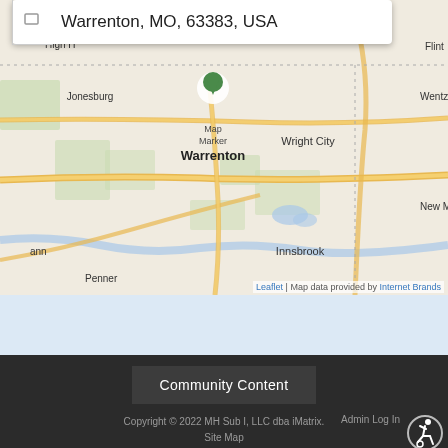[Figure (map): Interactive map showing Warrenton, MO area with surrounding cities: Jonesburg, Wright City, Wentzville, Innsbrook, New Melle, Flint. Map centered on Warrenton with a green map marker. Roads shown in orange/yellow. Attribution: Leaflet | Map data provided by Internet Brands.]
Leaflet | Map data provided by Internet Brands
Community Content
Copyright © 2022 MH Sub I, LLC dba iMatrix. Site Map Admin Log In